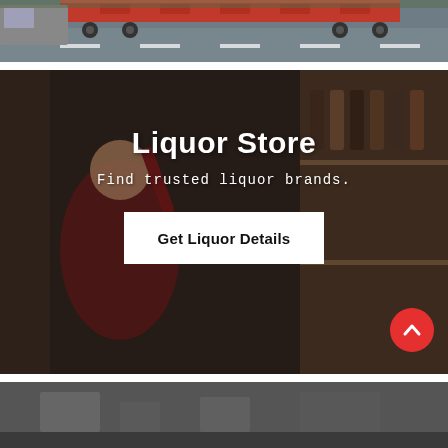[Figure (photo): Top strip showing a truck/semi-trailer on a highway road, cropped view of vehicle rear and road markings.]
[Figure (photo): Liquor store background image showing a woman in red reaching for a wine bottle on a wooden shelf stocked with various bottles.]
Liquor Store
Find trusted liquor brands.
Get Liquor Details
[Figure (photo): Bottom strip showing a partial view of what appears to be a store or market scene.]